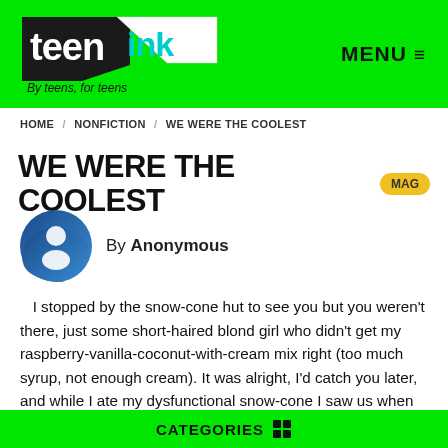teen ink — By teens, for teens — MENU
HOME / NONFICTION / WE WERE THE COOLEST
WE WERE THE COOLEST MAG
By Anonymous
I stopped by the snow-cone hut to see you but you weren't there, just some short-haired blond girl who didn't get my raspberry-vanilla-coconut-with-cream mix right (too much syrup, not enough cream). It was alright, I'd catch you later, and while I ate my dysfunctional snow-cone I saw us when
CATEGORIES